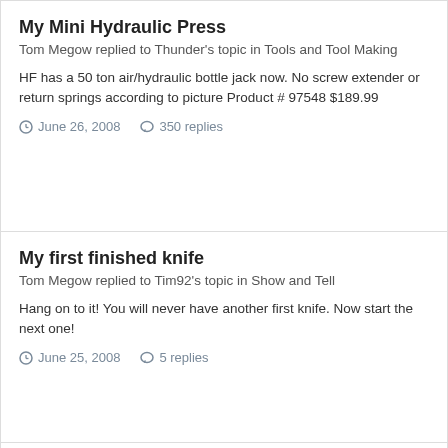My Mini Hydraulic Press
Tom Megow replied to Thunder's topic in Tools and Tool Making
HF has a 50 ton air/hydraulic bottle jack now. No screw extender or return springs according to picture Product # 97548 $189.99
June 26, 2008   350 replies
My first finished knife
Tom Megow replied to Tim92's topic in Show and Tell
Hang on to it! You will never have another first knife. Now start the next one!
June 25, 2008   5 replies
My Mini Hydraulic Press